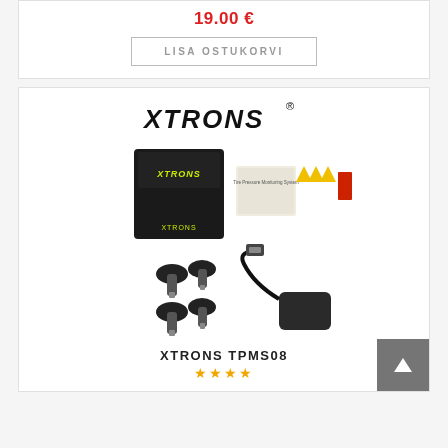19.00 €
LISA OSTUKORVI
[Figure (photo): XTRONS brand logo and product photo showing XTRONS TPMS08 tire pressure monitoring system kit with box, sensors, USB receiver, manual, and accessories on white background]
XTRONS TPMS08
★★★★